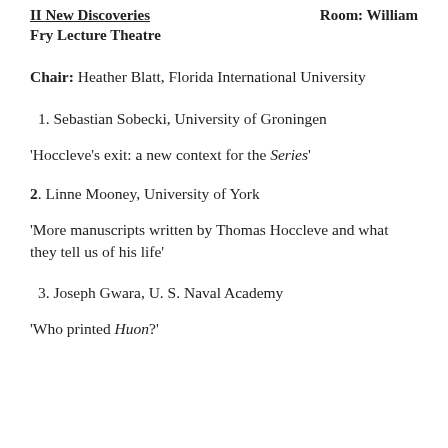II New Discoveries    Room: William Fry Lecture Theatre
Chair: Heather Blatt, Florida International University
1. Sebastian Sobecki, University of Groningen
'Hoccleve's exit: a new context for the Series'
2. Linne Mooney, University of York
'More manuscripts written by Thomas Hoccleve and what they tell us of his life'
3. Joseph Gwara, U. S. Naval Academy
'Who printed Huon?'